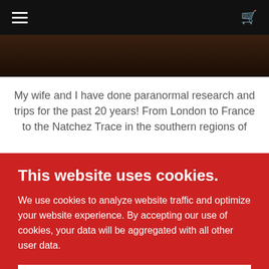☰ [cart icon]
[Figure (photo): Dark interior photo, partially visible at top of page]
My wife and I have done paranormal research and trips for the past 20 years! From London to France to the Natchez Trace in the southern regions of
This website uses cookies.
We use cookies to analyze website traffic and optimize your website experience. By accepting our use of cookies, your data will be aggregated with all other user data.
ACCEPT